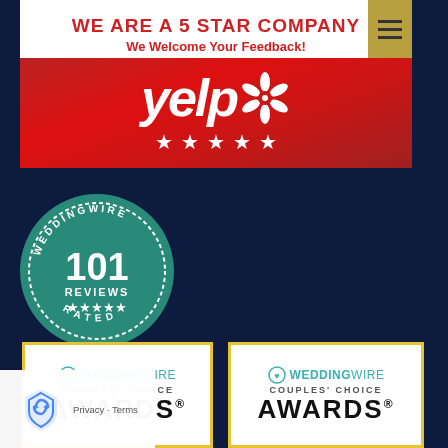[Figure (infographic): Top banner: WE ARE A 5 STAR COMPANY - We Welcome Your Feedback! with hamburger menu button]
[Figure (logo): Yelp logo on red background with 5 white stars below]
[Figure (infographic): WeddingWire circular badge: 101 REVIEWS, 5 stars, RATED]
[Figure (infographic): WeddingWire Couples Choice Awards badge (left)]
[Figure (infographic): WeddingWire Couples Choice Awards badge (right)]
[Figure (logo): Privacy/reCAPTCHA overlay with Privacy - Terms text]